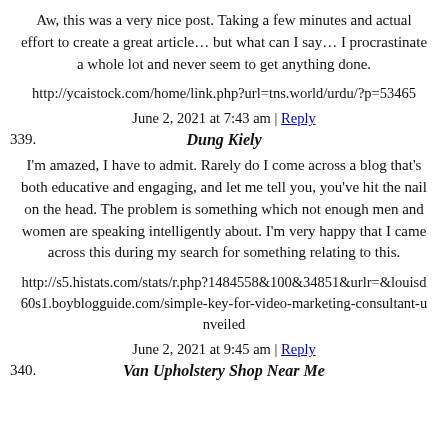Aw, this was a very nice post. Taking a few minutes and actual effort to create a great article… but what can I say… I procrastinate a whole lot and never seem to get anything done.
http://ycaistock.com/home/link.php?url=tns.world/urdu/?p=53465
June 2, 2021 at 7:43 am | Reply
339. Dung Kiely
I'm amazed, I have to admit. Rarely do I come across a blog that's both educative and engaging, and let me tell you, you've hit the nail on the head. The problem is something which not enough men and women are speaking intelligently about. I'm very happy that I came across this during my search for something relating to this.
http://s5.histats.com/stats/r.php?1484558&100&34851&urlr=&louisd60s1.boyblogguide.com/simple-key-for-video-marketing-consultant-unveiled
June 2, 2021 at 9:45 am | Reply
340. Van Upholstery Shop Near Me